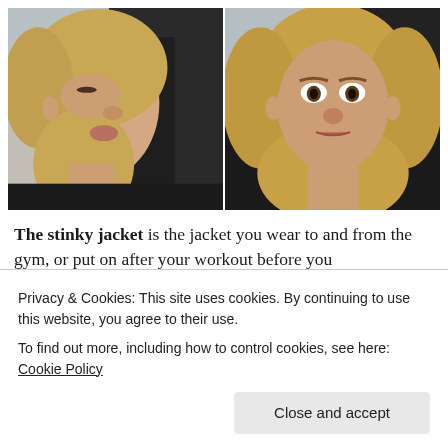[Figure (photo): Two side-by-side selfie photos of a blonde woman: left photo shows her in profile/side view with eyes nearly closed making a pouty face; right photo shows her facing the camera with a surprised or expressive look. Both photos show a black jacket in the background.]
The stinky jacket is the jacket you wear to and from the gym, or put on after your workout before you
Privacy & Cookies: This site uses cookies. By continuing to use this website, you agree to their use.
To find out more, including how to control cookies, see here: Cookie Policy
Close and accept
my beloved, longed-for easy jacket. They make me feel